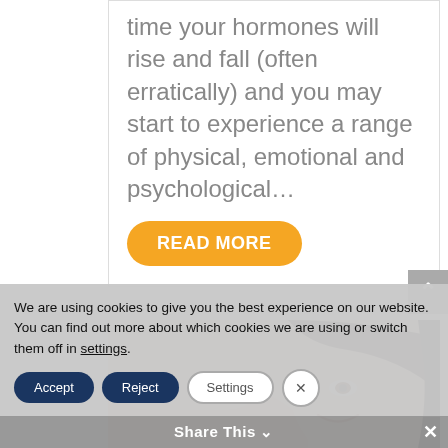time your hormones will rise and fall (often erratically) and you may start to experience a range of physical, emotional and psychological…
READ MORE
[Figure (photo): Photo of a smiling woman with dark hair, partial face visible]
We are using cookies to give you the best experience on our website.
You can find out more about which cookies we are using or switch them off in settings.
Accept
Reject
Settings
Share This